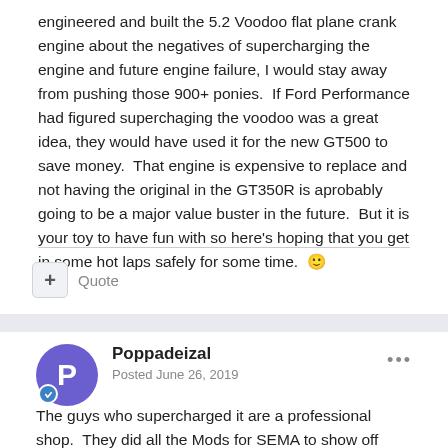engineered and built the 5.2 Voodoo flat plane crank engine about the negatives of supercharging the engine and future engine failure, I would stay away from pushing those 900+ ponies.  If Ford Performance had figured superchaging the voodoo was a great idea, they would have used it for the new GT500 to save money.  That engine is expensive to replace and not having the original in the GT350R is aprobably going to be a major value buster in the future.  But it is your toy to have fun with so here's hoping that you get in some hot laps safely for some time.  😊
Quote
Poppadeizal
Posted June 26, 2019
The guys who supercharged it are a professional shop.  They did all the Mods for SEMA to show off zone of there products.  So....It